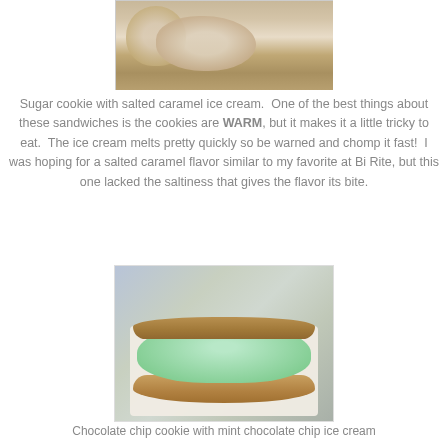[Figure (photo): Photo of a sugar cookie ice cream sandwich with salted caramel ice cream, viewed from above on a white paper plate]
Sugar cookie with salted caramel ice cream.  One of the best things about these sandwiches is the cookies are WARM, but it makes it a little tricky to eat.  The ice cream melts pretty quickly so be warned and chomp it fast!  I was hoping for a salted caramel flavor similar to my favorite at Bi Rite, but this one lacked the saltiness that gives the flavor its bite.
[Figure (photo): Photo of a chocolate chip cookie ice cream sandwich with mint chocolate chip ice cream, served on white paper in a cardboard boat]
Chocolate chip cookie with mint chocolate chip ice cream